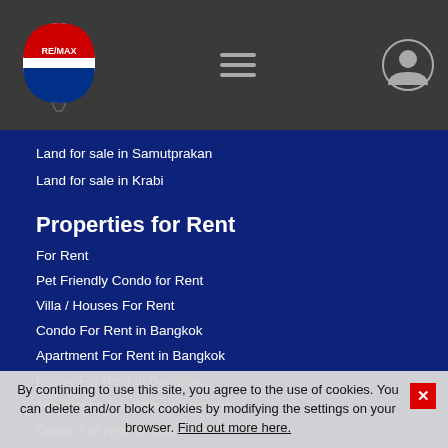RE/MAX logo, hamburger menu, user icon
Land for sale in Samutprakan
Land for sale in Krabi
Properties for Rent
For Rent
Pet Friendly Condo for Rent
Villa / Houses For Rent
Condo For Rent in Bangkok
Apartment For Rent in Bangkok
House For Rent in Bangkok
Townhouse For Rent in Bangkok
Condo For Rent in Sukhumvit
Condo For Rent in Pattaya
House For Rent in Pattaya
House For Rent in Koh Samui
Condo For Rent in Koh Samui
By continuing to use this site, you agree to the use of cookies. You can delete and/or block cookies by modifying the settings on your browser. Find out more here.